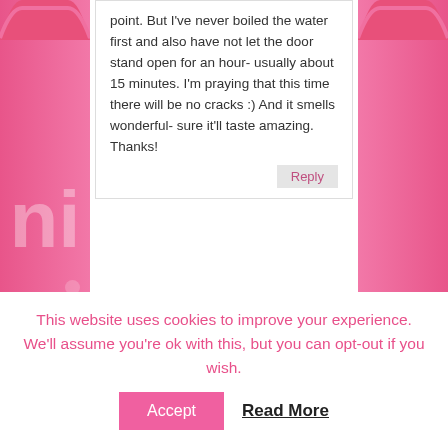point. But I've never boiled the water first and also have not let the door stand open for an hour- usually about 15 minutes. I'm praying that this time there will be no cracks :) And it smells wonderful- sure it'll taste amazing. Thanks!
Reply
niner
Tuesday May 15th, 2012 at 11:53
Mirinda, thanks so much for your awesome comment!! How did it go, did you like the recipe?? did it work, did it crack? hopefully not!! I know the batter is alot, I usually fill up cupcake liners
This website uses cookies to improve your experience. We'll assume you're ok with this, but you can opt-out if you wish.
Accept
Read More